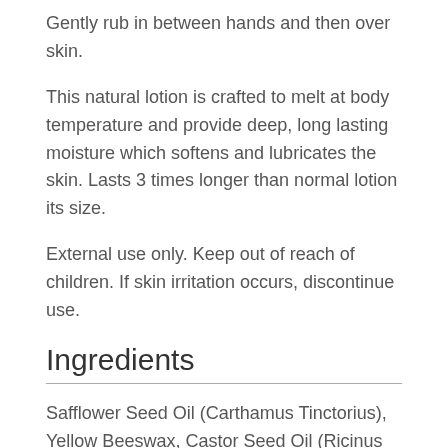Gently rub in between hands and then over skin.
This natural lotion is crafted to melt at body temperature and provide deep, long lasting moisture which softens and lubricates the skin. Lasts 3 times longer than normal lotion its size.
External use only. Keep out of reach of children. If skin irritation occurs, discontinue use.
Ingredients
Safflower Seed Oil (Carthamus Tinctorius), Yellow Beeswax, Castor Seed Oil (Ricinus Communis), Organic Shea Butter (Butyrospermum Parkii), Organic Coconut Oil